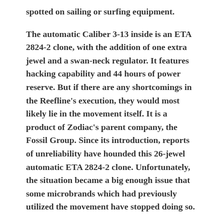spotted on sailing or surfing equipment.
The automatic Caliber 3-13 inside is an ETA 2824-2 clone, with the addition of one extra jewel and a swan-neck regulator. It features hacking capability and 44 hours of power reserve. But if there are any shortcomings in the Reefline's execution, they would most likely lie in the movement itself. It is a product of Zodiac's parent company, the Fossil Group. Since its introduction, reports of unreliability have hounded this 26-jewel automatic ETA 2824-2 clone. Unfortunately, the situation became a big enough issue that some microbrands which had previously utilized the movement have stopped doing so.
It is possible, however, that the reports are the result of difficulties in the early stages of production. It is also equally possible that STP has since resolved the quality-control issues with the 3-13 caliber. The two watches I have owned which utilize this movement